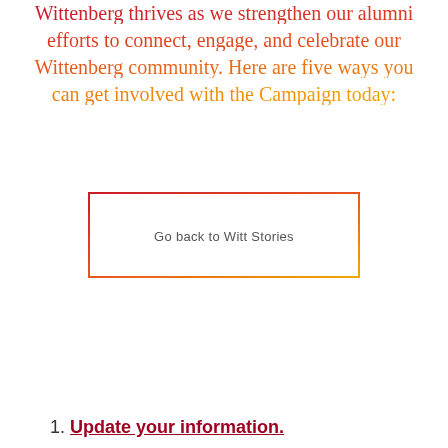Wittenberg thrives as we strengthen our alumni efforts to connect, engage, and celebrate our Wittenberg community. Here are five ways you can get involved with the Campaign today:
[Figure (other): A rectangular button with gradient border (red to orange/yellow) containing the text 'Go back to Witt Stories']
1. Update your information.